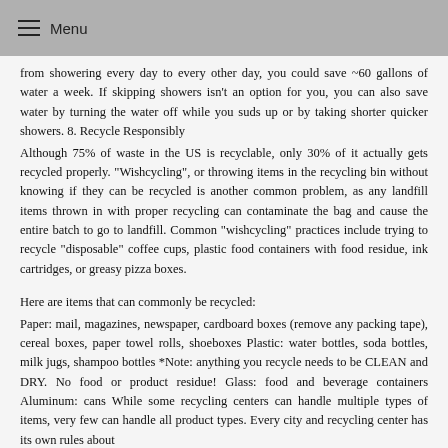Menu
from showering every day to every other day, you could save ~60 gallons of water a week. If skipping showers isn't an option for you, you can also save water by turning the water off while you suds up or by taking shorter quicker showers. 8. Recycle Responsibly
Although 75% of waste in the US is recyclable, only 30% of it actually gets recycled properly. "Wishcycling", or throwing items in the recycling bin without knowing if they can be recycled is another common problem, as any landfill items thrown in with proper recycling can contaminate the bag and cause the entire batch to go to landfill. Common "wishcycling" practices include trying to recycle "disposable" coffee cups, plastic food containers with food residue, ink cartridges, or greasy pizza boxes.
Here are items that can commonly be recycled:
Paper: mail, magazines, newspaper, cardboard boxes (remove any packing tape), cereal boxes, paper towel rolls, shoeboxes Plastic: water bottles, soda bottles, milk jugs, shampoo bottles *Note: anything you recycle needs to be CLEAN and DRY. No food or product residue! Glass: food and beverage containers Aluminum: cans While some recycling centers can handle multiple types of items, very few can handle all product types. Every city and recycling center has its own rules about